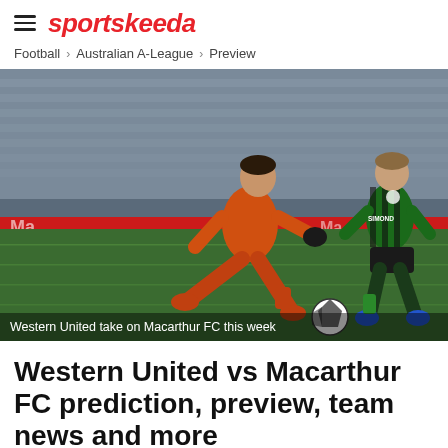sportskeeda
Football > Australian A-League > Preview
[Figure (photo): A goalkeeper in an orange kit is kicking the ball on a football pitch, with a player in a green and black striped kit approaching from behind. Stadium seats visible in background.]
Western United take on Macarthur FC this week
Western United vs Macarthur FC prediction, preview, team news and more